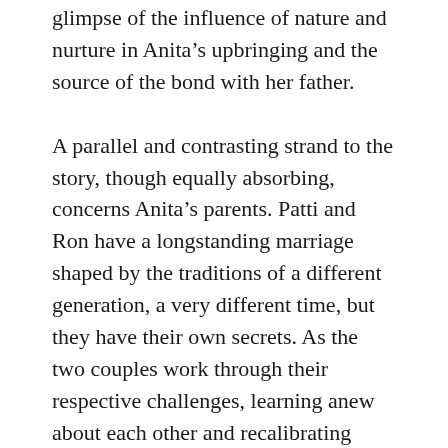glimpse of the influence of nature and nurture in Anita’s upbringing and the source of the bond with her father.
A parallel and contrasting strand to the story, though equally absorbing, concerns Anita’s parents. Patti and Ron have a longstanding marriage shaped by the traditions of a different generation, a very different time, but they have their own secrets. As the two couples work through their respective challenges, learning anew about each other and recalibrating their attachments, the novel alludes not so much to a radical ‘reset’, as to an ongoing evolution that the reader can’t help but find familiar.
Not withstanding the delicious charm and